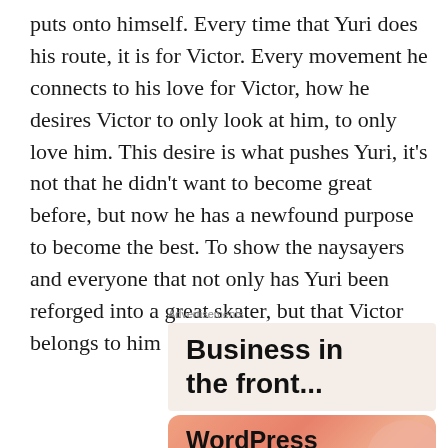puts onto himself. Every time that Yuri does his route, it is for Victor. Every movement he connects to his love for Victor, how he desires Victor to only look at him, to only love him. This desire is what pushes Yuri, it's not that he didn't want to become great before, but now he has a newfound purpose to become the best. To show the naysayers and everyone that not only has Yuri been reforged into a great skater, but that Victor belongs to him
Advertisements
[Figure (illustration): Advertisement banner with dark background showing text 'Business in the front...' in bold black font on a light beige/cream background]
[Figure (illustration): Advertisement banner with orange/pink gradient background with decorative circles showing text 'WordPress in the back.' in bold black font]